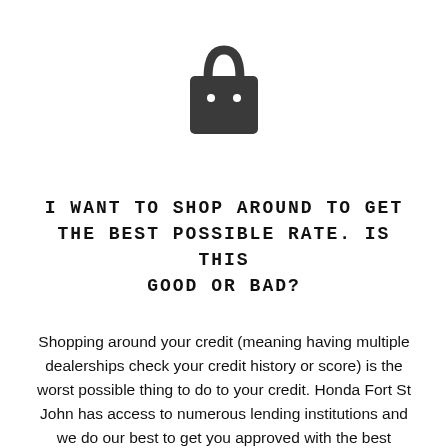[Figure (illustration): Shopping bag icon, dark gray, centered near top of page]
I WANT TO SHOP AROUND TO GET THE BEST POSSIBLE RATE. IS THIS GOOD OR BAD?
Shopping around your credit (meaning having multiple dealerships check your credit history or score) is the worst possible thing to do to your credit. Honda Fort St John has access to numerous lending institutions and we do our best to get you approved with the best possible rate guaranteed.